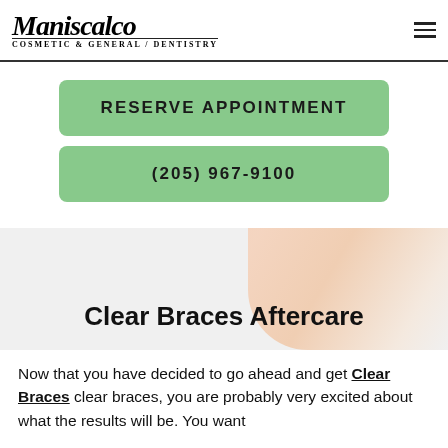Maniscalco Cosmetic & General Dentistry
RESERVE APPOINTMENT
(205) 967-9100
[Figure (photo): Woman smiling, used as hero section background image for Clear Braces Aftercare page]
Clear Braces Aftercare
Now that you have decided to go ahead and get Clear Braces clear braces, you are probably very excited about what the results will be. You want